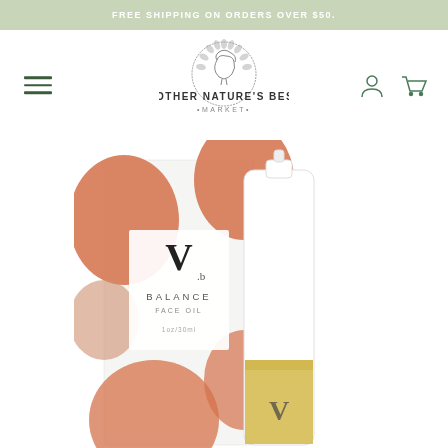FREE SHIPPING ON ORDERS OVER $50.
[Figure (logo): Mother Nature's Best Market logo — circular illustration of a woman's profile surrounded by leaves/flowers, with text 'MOTHER NATURE'S BEST' and '•MARKET•' below]
[Figure (photo): Product photo of 'V.b BALANCE FACE OIL' skincare product — a white pump bottle with yellow oil visible at bottom beside its packaging box decorated with terracotta/orange abstract botanical patterns]